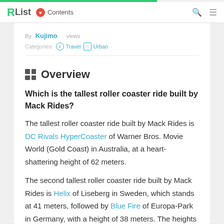RList ❤ Contents
By Kujimo   views
Categories: ⊙ Travel  □ Urban
Overview
Which is the tallest roller coaster ride built by Mack Rides?
The tallest roller coaster ride built by Mack Rides is DC Rivals HyperCoaster of Warner Bros. Movie World (Gold Coast) in Australia, at a heart-shattering height of 62 meters.
The second tallest roller coaster ride built by Mack Rides is Helix of Liseberg in Sweden, which stands at 41 meters, followed by Blue Fire of Europa-Park in Germany, with a height of 38 meters. The heights of